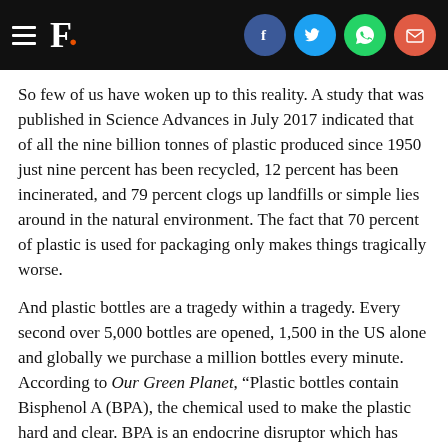F. [Logo with social share icons: Facebook, Twitter, WhatsApp, Email]
So few of us have woken up to this reality. A study that was published in Science Advances in July 2017 indicated that of all the nine billion tonnes of plastic produced since 1950 just nine percent has been recycled, 12 percent has been incinerated, and 79 percent clogs up landfills or simple lies around in the natural environment. The fact that 70 percent of plastic is used for packaging only makes things tragically worse.
And plastic bottles are a tragedy within a tragedy. Every second over 5,000 bottles are opened, 1,500 in the US alone and globally we purchase a million bottles every minute.  According to Our Green Planet, “Plastic bottles contain Bisphenol A (BPA), the chemical used to make the plastic hard and clear. BPA is an endocrine disruptor which has been proven to be hazardous to human health. It has been strongly linked to health problems including certain types of cancer, neurological difficulties, early puberty in girls, reduced fertility in women, premature labour and defects in newborn babies. BPA enters the human body